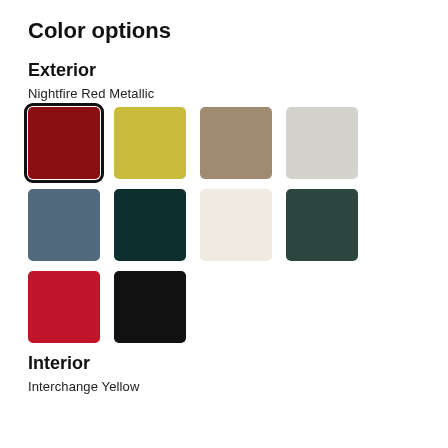Color options
Exterior
Nightfire Red Metallic
[Figure (infographic): Color swatches grid showing exterior color options: row 1: Nightfire Red Metallic (selected, dark red), yellow-green, tan/khaki, light gray; row 2: slate blue, dark teal, cream/off-white, dark forest green; row 3: bright red, black]
Interior
Interchange Yellow